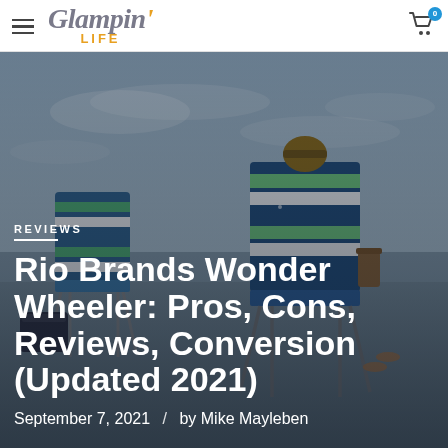Glampin' LIFE
[Figure (photo): Beach scene with two striped beach chairs and a cooler, viewed from behind, against a cloudy sky. Serves as hero image background for the article.]
REVIEWS
Rio Brands Wonder Wheeler: Pros, Cons, Reviews, Conversion (Updated 2021)
September 7, 2021 / by Mike Mayleben